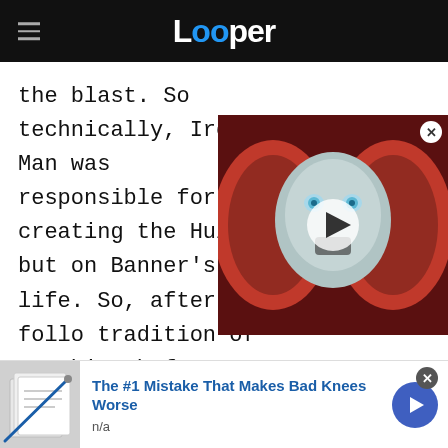Looper
the blast. So technically, Iron Man was responsible for creating the Hulk but on Banner's life. So, after follo tradition of punching before as friends once again.
[Figure (screenshot): Video thumbnail overlay showing a robot face with glowing blue eyes and red helmet, with a play button in the center and a close (X) button in the top right corner.]
[Figure (photo): Advertisement image showing what appears to be papers or documents with a pen/needle, promoting 'The #1 Mistake That Makes Bad Knees Worse']
The #1 Mistake That Makes Bad Knees Worse
n/a